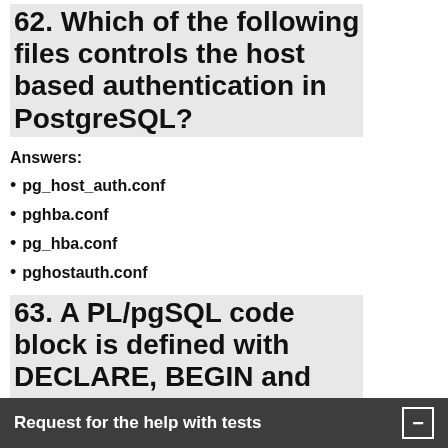62. Which of the following files controls the host based authentication in PostgreSQL?
Answers:
pg_host_auth.conf
pghba.conf
pg_hba.conf
pghostauth.conf
63. A PL/pgSQL code block is defined with DECLARE, BEGIN and END. How many such sub blocks can be nested wit
Request for the help with tests